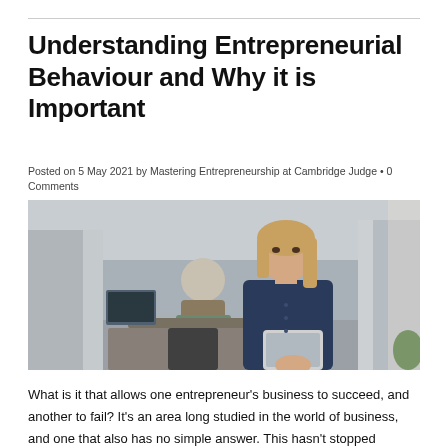Understanding Entrepreneurial Behaviour and Why it is Important
Posted on 5 May 2021 by Mastering Entrepreneurship at Cambridge Judge • 0 Comments
[Figure (photo): A woman in a dark denim shirt holding a tablet, standing in an office environment with a blurred male colleague sitting in the background near concrete pillars.]
What is it that allows one entrepreneur's business to succeed, and another to fail? It's an area long studied in the world of business, and one that also has no simple answer. This hasn't stopped academics from trying, however, with